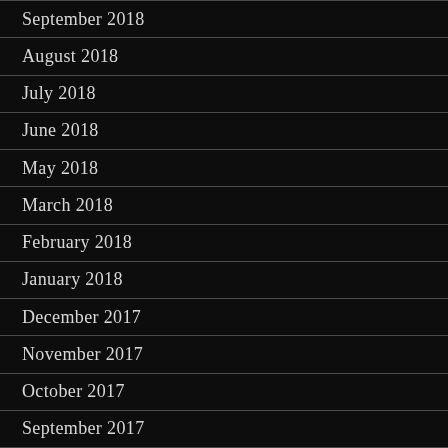September 2018
August 2018
July 2018
June 2018
May 2018
March 2018
February 2018
January 2018
December 2017
November 2017
October 2017
September 2017